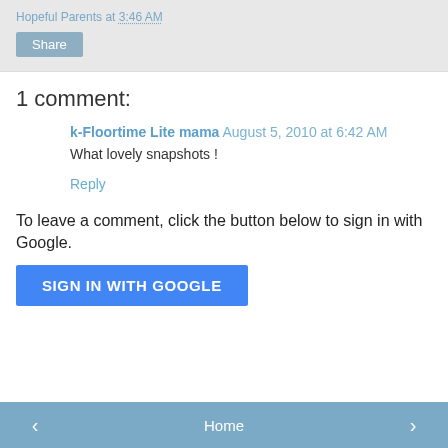Hopeful Parents at 3:46 AM
Share
1 comment:
k-Floortime Lite mama August 5, 2010 at 6:42 AM
What lovely snapshots !
Reply
To leave a comment, click the button below to sign in with Google.
SIGN IN WITH GOOGLE
< Home >